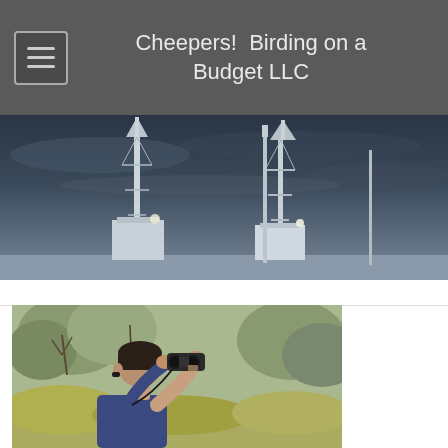Cheepers!  Birding on a Budget LLC
[Figure (photo): Hero banner: dark stormy sky with radio towers/antenna structures visible, desaturated blue-grey tones]
[Figure (photo): A man looking through binoculars outdoors, with trees and green foliage in the background, wearing a blue shirt]